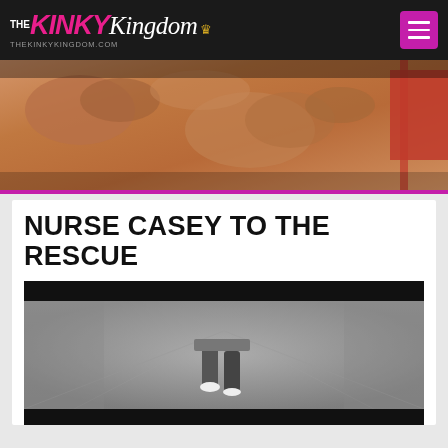THE KINKY Kingdom THEKINKYKINGDOM.COM
[Figure (photo): Hero banner showing close-up of a person wearing red lingerie]
NURSE CASEY TO THE RESCUE
[Figure (screenshot): Black and white video thumbnail showing a nurse walking down a hallway, view from behind at legs level]